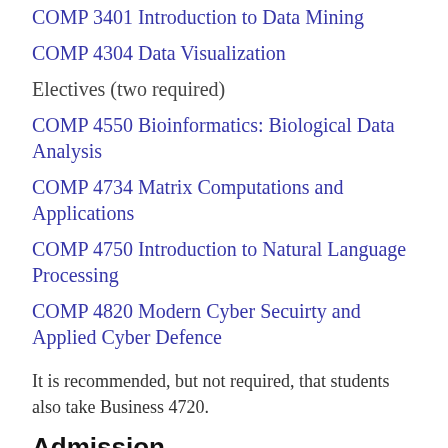COMP 3401 Introduction to Data Mining
COMP 4304 Data Visualization
Electives (two required)
COMP 4550 Bioinformatics: Biological Data Analysis
COMP 4734 Matrix Computations and Applications
COMP 4750 Introduction to Natural Language Processing
COMP 4820 Modern Cyber Secuirty and Applied Cyber Defence
It is recommended, but not required, that students also take Business 4720.
Admission